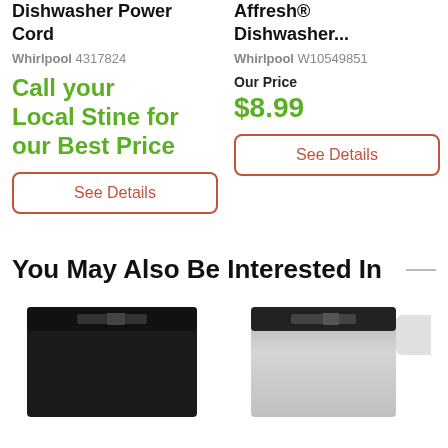Dishwasher Power Cord
Whirlpool 4317824
Call your Local Stine for our Best Price
See Details
Affresh® Dishwasher...
Whirlpool W10549851
Our Price
$8.99
See Details
You May Also Be Interested In
[Figure (photo): Black dishwasher product image]
[Figure (photo): Stainless steel dishwasher product image]